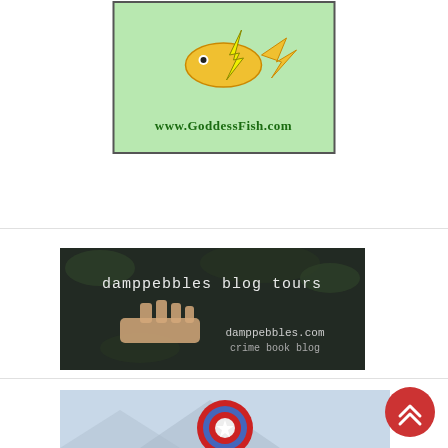[Figure (logo): GoddessFish.com logo — a fish with lightning bolt tail on green background with URL www.GoddessFish.com]
[Figure (illustration): Damppebbles Blog Tours banner — dark background with hand image, text 'damppebbles blog tours', 'damppebbles.com crime book blog']
[Figure (illustration): Captain America-style shield logo on light blue/grey background — red, blue and white concentric circles with star]